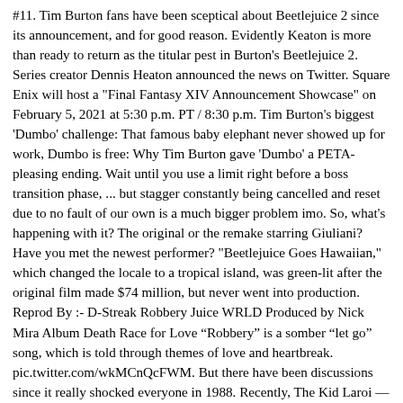#11. Tim Burton fans have been sceptical about Beetlejuice 2 since its announcement, and for good reason. Evidently Keaton is more than ready to return as the titular pest in Burton's Beetlejuice 2. Series creator Dennis Heaton announced the news on Twitter. Square Enix will host a "Final Fantasy XIV Announcement Showcase" on February 5, 2021 at 5:30 p.m. PT / 8:30 p.m. Tim Burton's biggest 'Dumbo' challenge: That famous baby elephant never showed up for work, Dumbo is free: Why Tim Burton gave 'Dumbo' a PETA-pleasing ending. Wait until you use a limit right before a boss transition phase, ... but stagger constantly being cancelled and reset due to no fault of our own is a much bigger problem imo. So, what's happening with it? The original or the remake starring Giuliani? Have you met the newest performer? "Beetlejuice Goes Hawaiian," which changed the locale to a tropical island, was green-lit after the original film made $74 million, but never went into production. Reprod By :- D-Streak Robbery Juice WRLD Produced by Nick Mira Album Death Race for Love “Robbery” is a somber “let go” song, which is told through themes of love and heartbreak. pic.twitter.com/wkMCnQcFWM. But there have been discussions since it really shocked everyone in 1988. Recently, The Kid Laroi — a previous mentee of Juice WRLD's — reported on Twitter that he would be delivering his twist on the track sometime in the evening. Menu. Beetlejuice is so quintessentially Tim Burton that it … And that's not easy," says Wilson. And in terms of 'Beetlejuice Goes Hawaiian,' it is clearly based on the Bi...